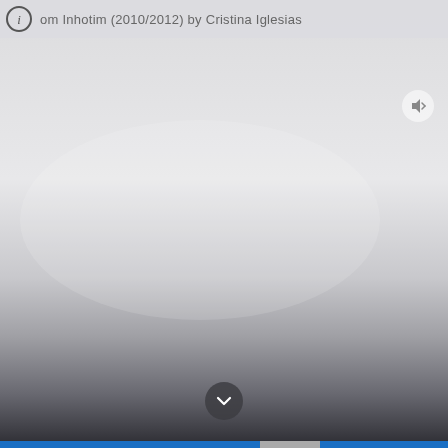[Figure (screenshot): Screenshot of a media viewer or app interface showing an artwork titled 'om Inhotim (2010/2012) by Cristina Iglesias'. The background is a large gradient image transitioning from light gray/white at the top to dark charcoal/black at the bottom, resembling a sky or abstract landscape. The interface has a semi-transparent top bar with an info icon (circled i) and the artwork title, a volume/audio button in the upper right, a chevron/down arrow button near the bottom center, and a blue progress/navigation bar at the very bottom.]